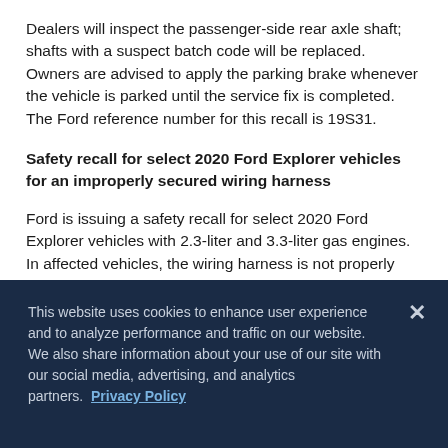Dealers will inspect the passenger-side rear axle shaft; shafts with a suspect batch code will be replaced. Owners are advised to apply the parking brake whenever the vehicle is parked until the service fix is completed. The Ford reference number for this recall is 19S31.
Safety recall for select 2020 Ford Explorer vehicles for an improperly secured wiring harness
Ford is issuing a safety recall for select 2020 Ford Explorer vehicles with 2.3-liter and 3.3-liter gas engines. In affected vehicles, the wiring harness is not properly secured and may contact the air-conditioning pulley, resulting in a damaged wiring harness or damaged air-conditioning drive belt. Over time, contact with the air-
This website uses cookies to enhance user experience and to analyze performance and traffic on our website. We also share information about your use of our site with our social media, advertising, and analytics partners. Privacy Policy